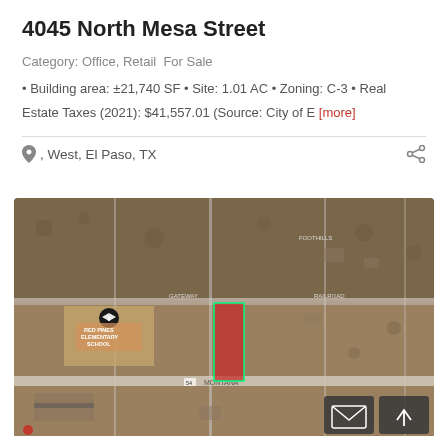4045 North Mesa Street
Category: Office, Retail  For Sale
• Building area: ±21,740 SF • Site: 1.01 AC • Zoning: C-3 • Real Estate Taxes (2021): $41,557.01 (Source: City of E [more]
, West, El Paso, TX
[Figure (map): Aerial satellite map showing property at 4045 North Mesa Street in West El Paso, TX. A red highlighted parcel is visible near the center of the map near Montana Avenue. A school labeled 'RED PINES ELEMENTARY SCHOOL' is visible to the left. Grid roads and desert terrain are visible. Navigation/contact buttons appear in the bottom right corner.]